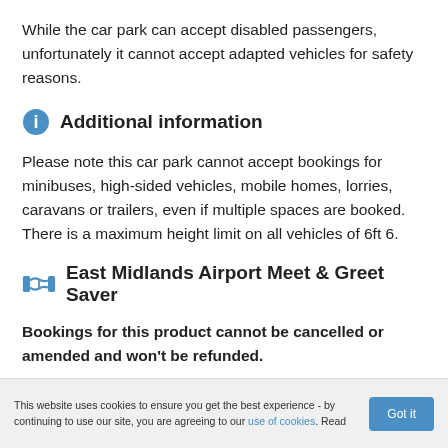While the car park can accept disabled passengers, unfortunately it cannot accept adapted vehicles for safety reasons.
Additional information
Please note this car park cannot accept bookings for minibuses, high-sided vehicles, mobile homes, lorries, caravans or trailers, even if multiple spaces are booked. There is a maximum height limit on all vehicles of 6ft 6.
East Midlands Airport Meet & Greet Saver
Bookings for this product cannot be cancelled or amended and won't be refunded.
This website uses cookies to ensure you get the best experience - by continuing to use our site, you are agreeing to our use of cookies. Read